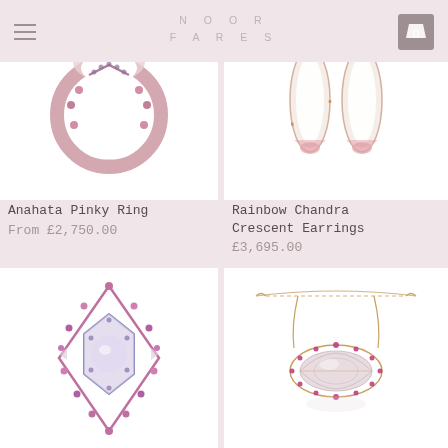NOOR FARES
[Figure (photo): Anahata Pinky Ring jewelry product photo — circular ring with pink gemstones and a crescent design on white background]
[Figure (photo): Rainbow Chandra Crescent Earrings jewelry product photo — two elongated oval earrings with rose gold and pearl accents on white background]
Anahata Pinky Ring
From £2,750.00
Rainbow Chandra Crescent Earrings
£3,695.00
[Figure (photo): Ornate ring with hexagonal center stone surrounded by pink/purple gemstones in a pointed oval setting on white background]
[Figure (photo): Necklace with a pearl and gemstone pendant in a marquise shape on a rose gold chain, on white background]